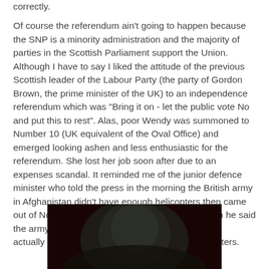correctly.
Of course the referendum ain't going to happen because the SNP is a minority administration and the majority of parties in the Scottish Parliament support the Union. Although I have to say I liked the attitude of the previous Scottish leader of the Labour Party (the party of Gordon Brown, the prime minister of the UK) to an independence referendum which was "Bring it on - let the public vote No and put this to rest". Alas, poor Wendy was summoned to Number 10 (UK equivalent of the Oval Office) and emerged looking ashen and less enthusiastic for the referendum. She lost her job soon after due to an expenses scandal. It reminded me of the junior defence minister who told the press in the morning the British army in Afghanistan didn't have enough helicopters then came out of No. 10 in the afternoon to "clarify" that, when he said the army did not have enough helicopters, what he actually meant was that it did have enough helicopters.
[Figure (photo): A dark, low-light photograph showing what appears to be a person or figure with dark hair against a very dark, deep red/black background.]